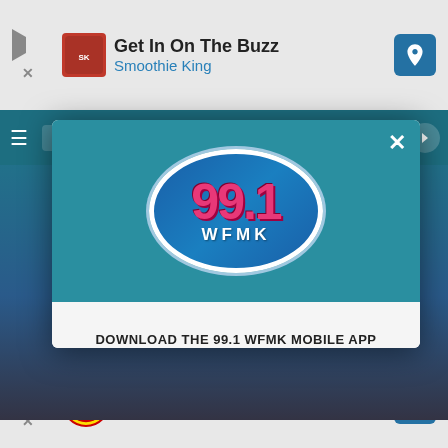[Figure (screenshot): Top advertisement banner: Play button icon, Smoothie King logo, text 'Get In On The Buzz' and 'Smoothie King', navigation arrow icon on right]
[Figure (logo): 99.1 WFMK radio station logo in oval shape with blue background, magenta/pink large numerals '99.1' and white 'WFMK' text below]
DOWNLOAD THE 99.1 WFMK MOBILE APP
GET OUR FREE MOBILE APP
Also listen on:  amazon alexa
[Figure (screenshot): Bottom advertisement banner: Play button icon, Lidl logo, text 'Better Food. Betterer Prices' and 'Lidl', navigation arrow icon on right]